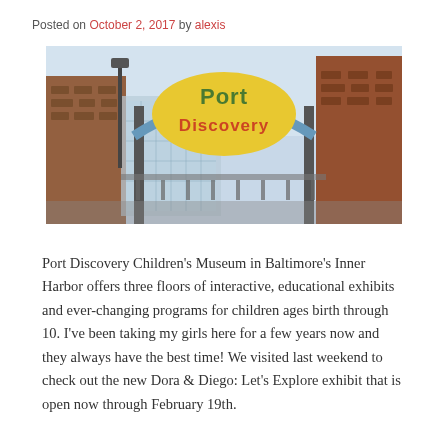Posted on October 2, 2017 by alexis
[Figure (photo): Outdoor archway entrance sign reading 'Port Discovery' in colorful lettering, with brick buildings and urban background visible]
Port Discovery Children’s Museum in Baltimore’s Inner Harbor offers three floors of interactive, educational exhibits and ever-changing programs for children ages birth through 10. I’ve been taking my girls here for a few years now and they always have the best time! We visited last weekend to check out the new Dora & Diego: Let’s Explore exhibit that is open now through February 19th.